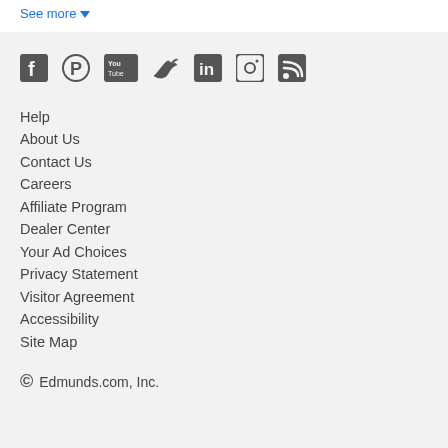See more
[Figure (other): Social media icons: Facebook, Pinterest, YouTube, Twitter, LinkedIn, Instagram, RSS]
Help
About Us
Contact Us
Careers
Affiliate Program
Dealer Center
Your Ad Choices
Privacy Statement
Visitor Agreement
Accessibility
Site Map
© Edmunds.com, Inc.